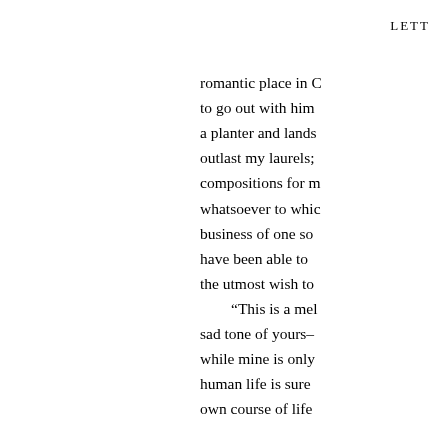LETT
romantic place in … to go out with him… a planter and lands… outlast my laurels; compositions for m… whatsoever to whic… business of one so… have been able to the utmost wish to
“This is a mel… sad tone of yours– while mine is only human life is sure own course of life